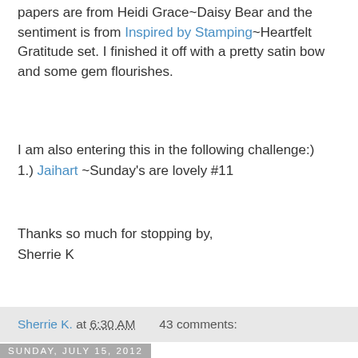papers are from Heidi Grace~Daisy Bear and the sentiment is from Inspired by Stamping~Heartfelt Gratitude set. I finished it off with a pretty satin bow and some gem flourishes.
I am also entering this in the following challenge:)
1.) Jaihart ~Sunday's are lovely #11
Thanks so much for stopping by,
Sherrie K
Sherrie K. at 6:30 AM    43 comments:
Sunday, July 15, 2012
Welcome Baby!
Hello Everyone and Welcome to Sherrie Scraps with Passion!
Hello my crafty friends!!! I hope your all enjoying the weekend!! I have a baby card that I made using my Imagine